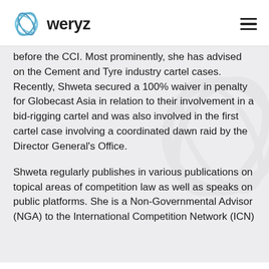weryz
before the CCI. Most prominently, she has advised on the Cement and Tyre industry cartel cases. Recently, Shweta secured a 100% waiver in penalty for Globecast Asia in relation to their involvement in a bid-rigging cartel and was also involved in the first cartel case involving a coordinated dawn raid by the Director General's Office.
Shweta regularly publishes in various publications on topical areas of competition law as well as speaks on public platforms. She is a Non-Governmental Advisor (NGA) to the International Competition Network (ICN)